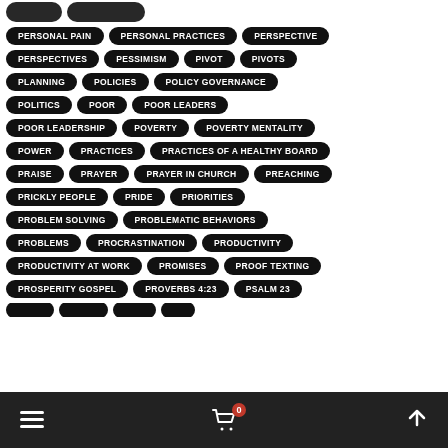PERSONAL PAIN
PERSONAL PRACTICES
PERSPECTIVE
PERSPECTIVES
PESSIMISM
PIVOT
PIVOTS
PLANNING
POLICIES
POLICY GOVERNANCE
POLITICS
POOR
POOR LEADERS
POOR LEADERSHIP
POVERTY
POVERTY MENTALITY
POWER
PRACTICES
PRACTICES OF A HEALTHY BOARD
PRAISE
PRAYER
PRAYER IN CHURCH
PREACHING
PRICKLY PEOPLE
PRIDE
PRIORITIES
PROBLEM SOLVING
PROBLEMATIC BEHAVIORS
PROBLEMS
PROCRASTINATION
PRODUCTIVITY
PRODUCTIVITY AT WORK
PROMISES
PROOF TEXTING
PROSPERITY GOSPEL
PROVERBS 4:23
PSALM 23
≡  🛒 0  ∧